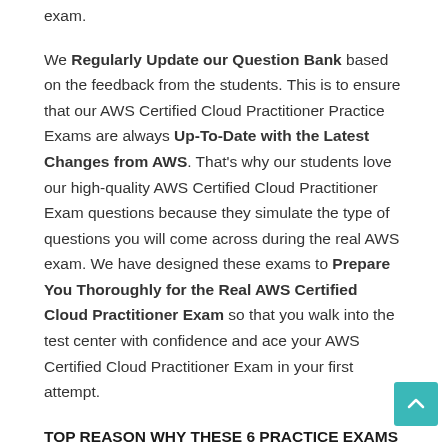exam.
We Regularly Update our Question Bank based on the feedback from the students. This is to ensure that our AWS Certified Cloud Practitioner Practice Exams are always Up-To-Date with the Latest Changes from AWS. That’s why our students love our high-quality AWS Certified Cloud Practitioner Exam questions because they simulate the type of questions you will come across during the real AWS exam. We have designed these exams to Prepare You Thoroughly for the Real AWS Certified Cloud Practitioner Exam so that you walk into the test center with confidence and ace your AWS Certified Cloud Practitioner Exam in your first attempt.
TOP REASON WHY THESE 6 PRACTICE EXAMS ARE YOUR BEST CHANCE TO ACE YOUR AWS CLOUD PRACTITIONER EXAM